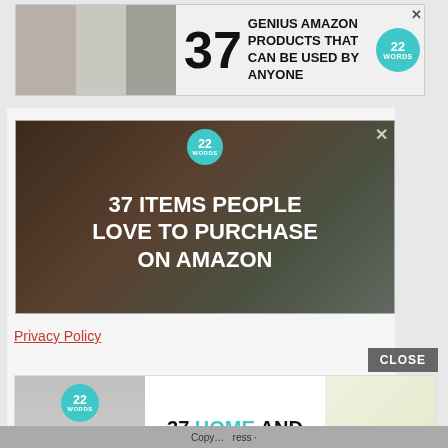[Figure (infographic): Top banner advertisement: '37 GENIUS AMAZON PRODUCTS THAT CAN BE USED BY ANYONE' with 22 Words badge and product images]
[Figure (infographic): Middle advertisement banner: '37 ITEMS PEOPLE LOVE TO PURCHASE ON AMAZON' with 22 Words badge, knife set and food images on dark background]
Privacy Policy
[Figure (infographic): Bottom banner advertisement: '37 HOME AND KITCHEN ITEMS EVERYONE SHOULD OWN' with 22 Words badge, wine opener and kitchen tool images]
Copy · ress ·